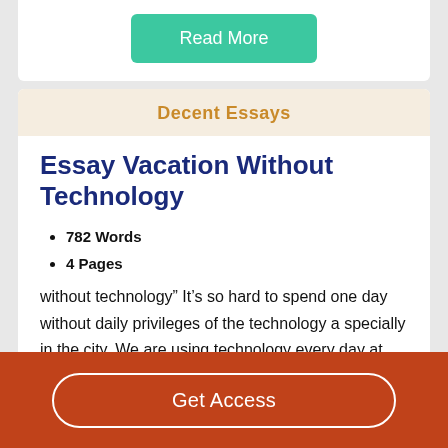Read More
Decent Essays
Essay Vacation Without Technology
782 Words
4 Pages
without technology” It’s so hard to spend one day without daily privileges of the technology a specially in the city. We are using technology every day at home. What is that meaning? Life is getting more comfortable, and I think this won’t be helpfully for future population. We are closes life in the four
Get Access